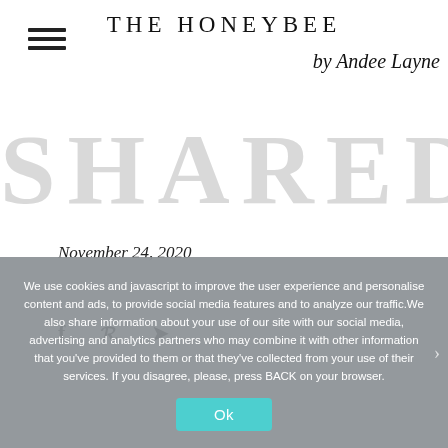THE HONEYBEE by Andee Layne
[Figure (other): Large partially visible bold letters forming a decorative title in the background]
November 24, 2020
[Figure (other): Social sharing icons: Facebook (f), Pinterest (P), Twitter bird icon]
We use cookies and javascript to improve the user experience and personalise content and ads, to provide social media features and to analyze our traffic.We also share information about your use of our site with our social media, advertising and analytics partners who may combine it with other information that you've provided to them or that they've collected from your use of their services. If you disagree, please, press BACK on your browser.
Ok